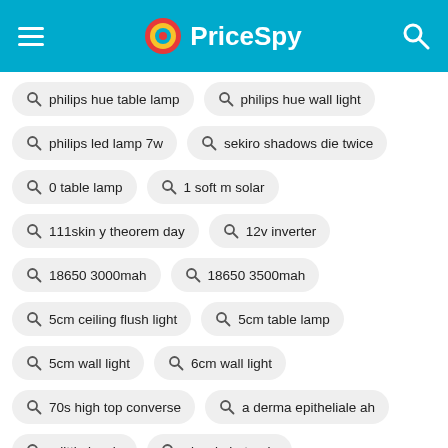PriceSpy
philips hue table lamp
philips hue wall light
philips led lamp 7w
sekiro shadows die twice
0 table lamp
1 soft m solar
111skin y theorem day
12v inverter
18650 3000mah
18650 3500mah
5cm ceiling flush light
5cm table lamp
5cm wall light
6cm wall light
70s high top converse
a derma epitheliale ah
a little lovely
alessi girotondo
anglepoise original
anglepoise original 1227